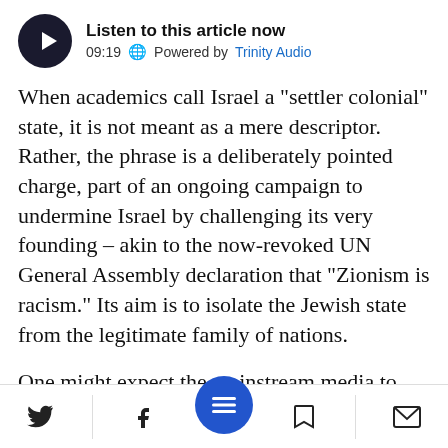[Figure (other): Audio player widget: play button (dark circle with triangle), title 'Listen to this article now', time '09:19', globe icon, 'Powered by Trinity Audio']
When academics call Israel a "settler colonial" state, it is not meant as a mere descriptor. Rather, the phrase is a deliberately pointed charge, part of an ongoing campaign to undermine Israel by challenging its very founding – akin to the now-revoked UN General Assembly declaration that "Zionism is racism." Its aim is to isolate the Jewish state from the legitimate family of nations.
One might expect the mainstream media to
[Figure (other): Bottom navigation bar with Twitter, Facebook, hamburger menu (blue circle), bookmark, and email icons]